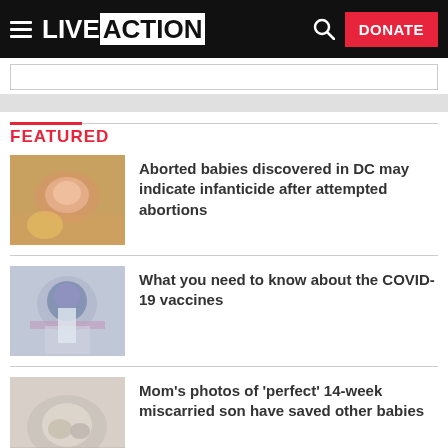LIVE ACTION — DONATE
[Figure (screenshot): Search box area below header]
[Figure (screenshot): Gray banner strip]
FEATURED
[Figure (photo): Blurred photo of a newborn baby with yellow background]
Aborted babies discovered in DC may indicate infanticide after attempted abortions
[Figure (photo): Person in purple medical mask receiving or giving a vaccine injection]
What you need to know about the COVID-19 vaccines
[Figure (photo): Close-up photo of what appears to be a small baby or fetal remains]
Mom's photos of 'perfect' 14-week miscarried son have saved other babies